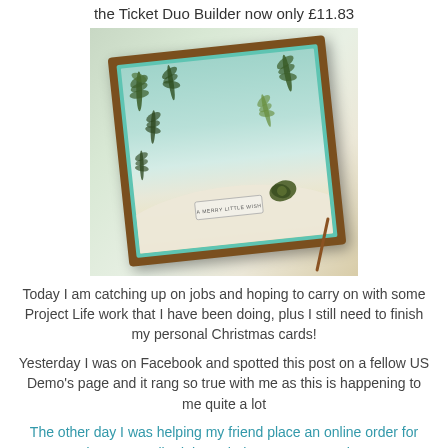the Ticket Duo Builder now only £11.83
[Figure (photo): A handmade Christmas card displayed on a wooden easel frame. The card features stamped fern/pine images in dark green on a teal/mint background with a textured cream snow mound, olive green bow, and a small tag reading 'A MERRY LITTLE WISH'.]
Today I am catching up on jobs and hoping to carry on with some Project Life work that I have been doing, plus I still need to finish my personal Christmas cards!
Yesterday I was on Facebook and spotted this post on a fellow US Demo's page and it rang so true with me as this is happening to me quite a lot
The other day I was helping my friend place an online order for product. We walked through the process together on